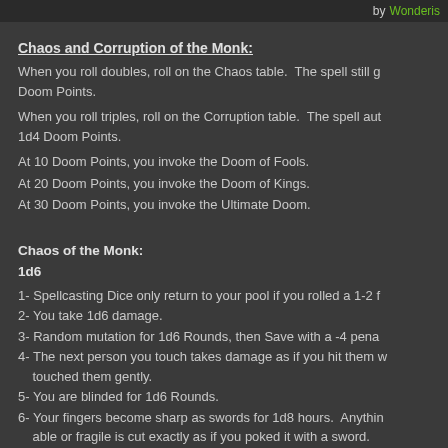by Wonderis
Chaos and Corruption of the Monk:
When you roll doubles, roll on the Chaos table.  The spell still g Doom Points.
When you roll triples, roll on the Corruption table.  The spell aut 1d4 Doom Points.
At 10 Doom Points, you invoke the Doom of Fools.
At 20 Doom Points, you invoke the Doom of Kings.
At 30 Doom Points, you invoke the Ultimate Doom.
Chaos of the Monk:
1d6
1- Spellcasting Dice only return to your pool if you rolled a 1-2 f
2- You take 1d6 damage.
3- Random mutation for 1d6 Rounds, then Save with a -4 pena
4- The next person you touch takes damage as if you hit them w touched them gently.
5- You are blinded for 1d6 Rounds.
6- Your fingers become sharp as swords for 1d8 hours.  Anythin able or fragile is cut exactly as if you poked it with a sword.
Corruption of the Monk:
1d6